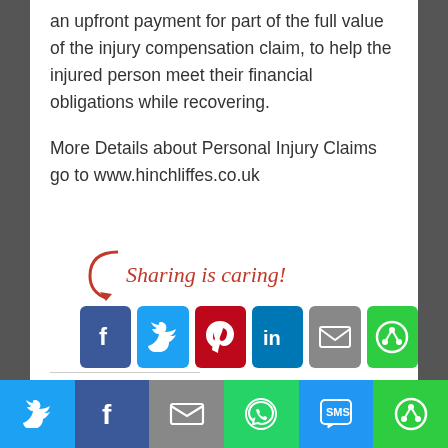an upfront payment for part of the full value of the injury compensation claim, to help the injured person meet their financial obligations while recovering.
More Details about Personal Injury Claims go to www.hinchliffes.co.uk
[Figure (infographic): Sharing is caring! social share buttons for Facebook, Twitter, Pinterest, LinkedIn, Email, and Share (green)]
#GP  #Personal Injury Claims  #uk
[Figure (infographic): Bottom share bar with Twitter, Facebook, Email, WhatsApp, SMS, and Share buttons]